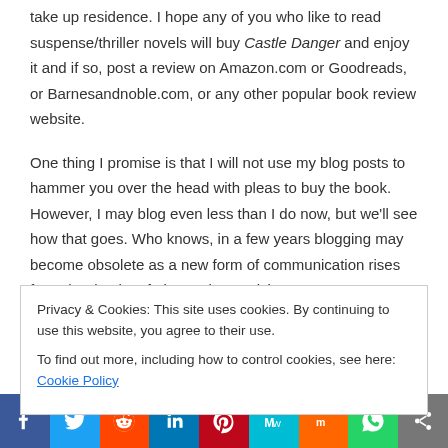take up residence. I hope any of you who like to read suspense/thriller novels will buy Castle Danger and enjoy it and if so, post a review on Amazon.com or Goodreads, or Barnesandnoble.com, or any other popular book review website.
One thing I promise is that I will not use my blog posts to hammer you over the head with pleas to buy the book. However, I may blog even less than I do now, but we'll see how that goes. Who knows, in a few years blogging may become obsolete as a new form of communication rises from the depths of electronic creativity.
My question: What new and exciting or scary personal adventure are you planning for 2016?
Privacy & Cookies: This site uses cookies. By continuing to use this website, you agree to their use.
To find out more, including how to control cookies, see here: Cookie Policy
Close and accept
[Figure (infographic): Social media share bar with icons: Facebook (blue), Twitter (light blue), Reddit (orange-red), LinkedIn (dark blue), Pinterest (dark red), MeWe (teal), Mix (orange), WhatsApp (green), Share (gray)]